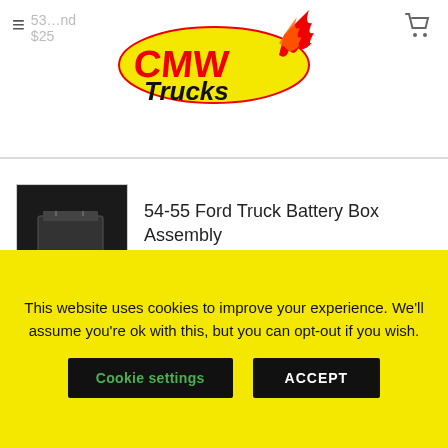[Figure (logo): CMW Trucks logo with flame design, oval shape, red and yellow text]
54-55 Ford Truck Battery Box Assembly
$69.00
ABOUT US
CMW Trucks, LLC is based in Northeast Ohio. We have been in the classic truck industry since 1990, building classic trucks
This website uses cookies to improve your experience. We'll assume you're ok with this, but you can opt-out if you wish.
Cookie settings
ACCEPT